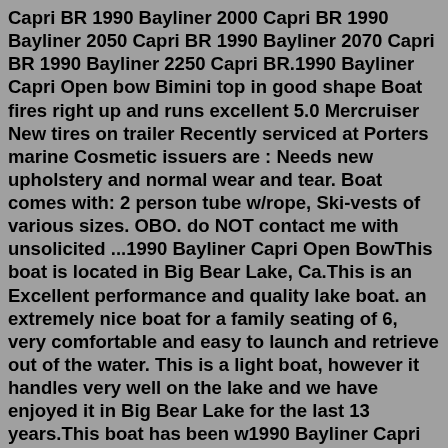Capri BR 1990 Bayliner 2000 Capri BR 1990 Bayliner 2050 Capri BR 1990 Bayliner 2070 Capri BR 1990 Bayliner 2250 Capri BR.1990 Bayliner Capri Open bow Bimini top in good shape Boat fires right up and runs excellent 5.0 Mercruiser New tires on trailer Recently serviced at Porters marine Cosmetic issuers are : Needs new upholstery and normal wear and tear. Boat comes with: 2 person tube w/rope, Ski-vests of various sizes. OBO. do NOT contact me with unsolicited ...1990 Bayliner Capri Open BowThis boat is located in Big Bear Lake, Ca.This is an Excellent performance and quality lake boat. an extremely nice boat for a family seating of 6, very comfortable and easy to launch and retrieve out of the water. This is a light boat, however it handles very well on the lake and we have enjoyed it in Big Bear Lake for the last 13 years.This boat has been w1990 Bayliner Capri $2,100 (San Diego) pic hide this posting restore restore this posting. more from nearby areas - change search area; $75. ... 1999 Bayliner BOAT Capri - LOW MILES Model 2050CS * 85 ... let her ... 5.0L...